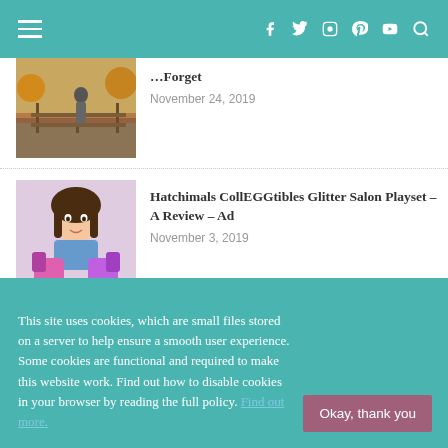Navigation bar with hamburger menu, social icons (Facebook, Twitter, Instagram, Pinterest, YouTube), and search
[Figure (photo): Partial article thumbnail: person standing by a wooden fence in an autumn outdoor scene]
Forget
November 24, 2019
[Figure (photo): Article thumbnail: young girl holding a Hatchimals CollEGGtibles Glitter Salon Playset toy]
Hatchimals CollEGGtibles Glitter Salon Playset – A Review – Ad
November 3, 2019
Into The Trees 2019 – An Idyllic Family Festival – AD
This site uses cookies, which are small files stored on a server to help ensure a smooth user experience. Some cookies are functional and required to make this website work. Find out how to disable cookies in your browser by reading the full policy. Find out more.